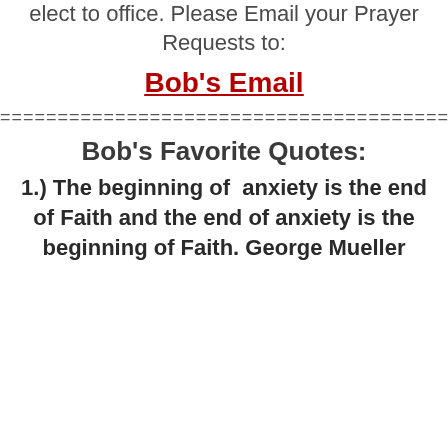elect to office. Please Email your Prayer Requests to:
Bob's Email
================================================
Bob's Favorite Quotes:
1.) The beginning of anxiety is the end of Faith and the end of anxiety is the beginning of Faith. George Mueller